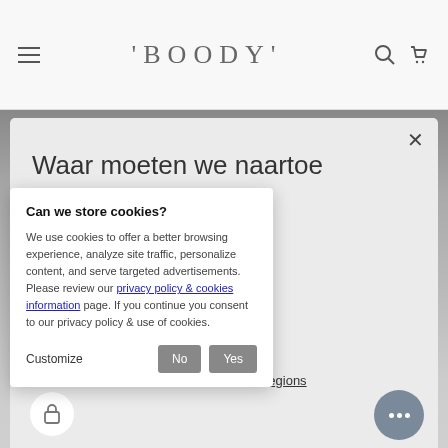BOODY (navigation header with hamburger menu, search, and cart icons)
Waar moeten we naartoe sturen?
U bezoekt vanuit [land]?
ming en laat uw reis beginnen.
Can we store cookies?
We use cookies to offer a better browsing experience, analyze site traffic, personalize content, and serve targeted advertisements. Please review our privacy policy & cookies information page. If you continue you consent to our privacy policy & use of cookies.
Customize
No
Yes
Not correct? View all regions